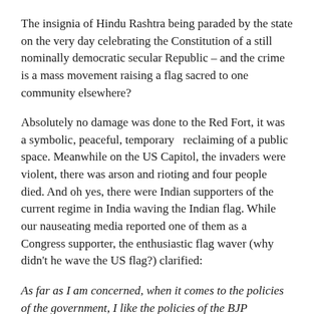The insignia of Hindu Rashtra being paraded by the state on the very day celebrating the Constitution of a still nominally democratic secular Republic – and the crime is a mass movement raising a flag sacred to one community elsewhere?
Absolutely no damage was done to the Red Fort, it was a symbolic, peaceful, temporary  reclaiming of a public space. Meanwhile on the US Capitol, the invaders were violent, there was arson and rioting and four people died. And oh yes, there were Indian supporters of the current regime in India waving the Indian flag. While our nauseating media reported one of them as a Congress supporter, the enthusiastic flag waver (why didn't he wave the US flag?) clarified:
As far as I am concerned, when it comes to the policies of the government, I like the policies of the BJP government because they are more business-friendly. Even though I have disagreed with some of their ideals. So I am